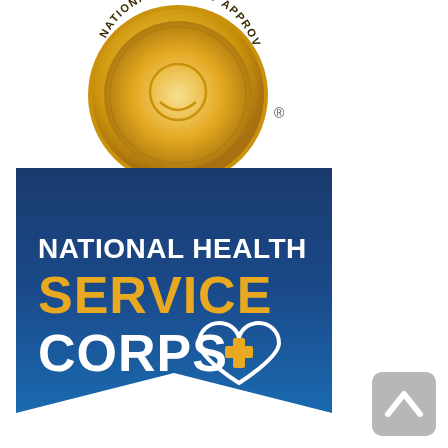[Figure (logo): Gold circular seal/medal with text 'NATIONAL QUALITY APPROVED' around the edge, with a registered trademark symbol to the right]
[Figure (logo): National Health Service Corps logo: blue gradient banner/ribbon shape with white text 'NATIONAL HEALTH', gold text 'SERVICE', white text 'CORPS', and a white heart outline with gold cross symbol inside]
[Figure (logo): Gray rounded square button with white upward-pointing chevron/arrow, positioned at bottom right]